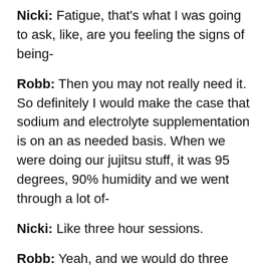Nicki: Fatigue, that's what I was going to ask, like, are you feeling the signs of being-
Robb: Then you may not really need it. So definitely I would make the case that sodium and electrolyte supplementation is on an as needed basis. When we were doing our jujitsu stuff, it was 95 degrees, 90% humidity and we went through a lot of-
Nicki: Like three hour sessions.
Robb: Yeah, and we would do three elements during that time, a piece. But day to day we might do one or two of them and then we just salt our food and we're pretty good to go from there. If Laura's not experiencing lethargy, fatigue, cramping, then you may just not need that much. The